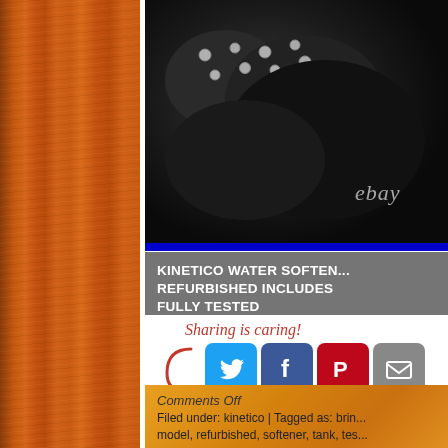[Figure (photo): Photo of water softener or mechanical equipment with bolts/fittings, dark background, with 'ebay' watermark text visible]
KINETICO WATER SOFTENER REFURBISHED INCLUDES FULLY TESTED
Sharing is caring!
[Figure (infographic): Social sharing icons: Twitter (blue bird), Facebook (blue f), Pinterest (red P), Email (grey envelope)]
Comments Off
Filed under: kinetico | Tagged as: brin... model, refurbished, softener, tank, tes...
NIB $600 Aquas... AST-WH Whole...